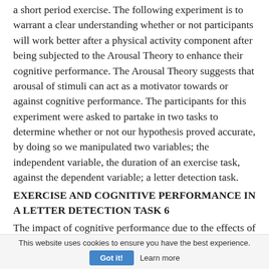a short period exercise. The following experiment is to warrant a clear understanding whether or not participants will work better after a physical activity component after being subjected to the Arousal Theory to enhance their cognitive performance. The Arousal Theory suggests that arousal of stimuli can act as a motivator towards or against cognitive performance. The participants for this experiment were asked to partake in two tasks to determine whether or not our hypothesis proved accurate, by doing so we manipulated two variables; the independent variable, the duration of an exercise task, against the dependent variable; a letter detection task.
EXERCISE AND COGNITIVE PERFORMANCE IN A LETTER DETECTION TASK 6
The impact of cognitive performance due to the effects of short period exercise. The experiment is to determine
This website uses cookies to ensure you have the best experience.